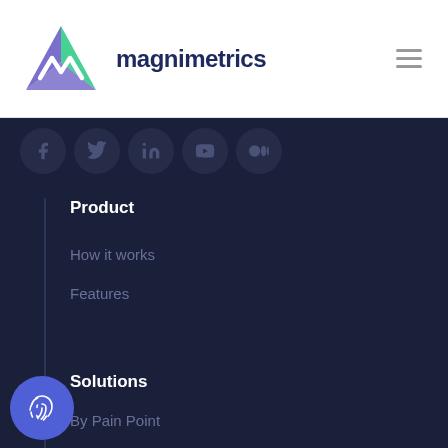magnimetrics
[Figure (logo): Magnimetrics logo with green and purple/blue stylized M triangle shape and text 'magnimetrics']
[Figure (infographic): Row of social media icons: Facebook, Twitter, LinkedIn, YouTube, Medium — all circular with dark background]
Product
How it works
Features
Solutions
By Pain Point